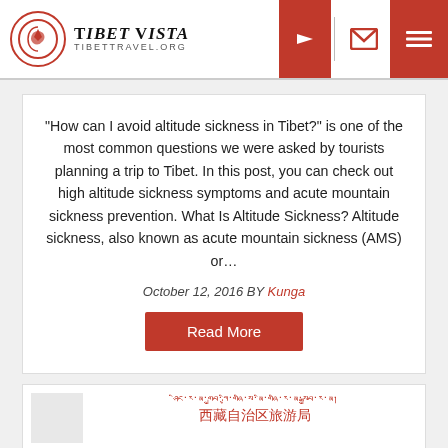Tibet Vista – TIBETTRAVEL.ORG
“How can I avoid altitude sickness in Tibet?” is one of the most common questions we were asked by tourists planning a trip to Tibet. In this post, you can check out high altitude sickness symptoms and acute mountain sickness prevention. What Is Altitude Sickness? Altitude sickness, also known as acute mountain sickness (AMS) or…
October 12, 2016 BY Kunga
Read More
[Figure (screenshot): Partial view of a second article card with Tibetan and Chinese red text]